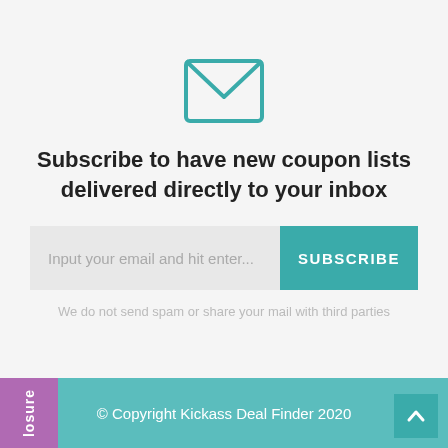[Figure (illustration): Teal envelope icon outline]
Subscribe to have new coupon lists delivered directly to your inbox
Input your email and hit enter...
SUBSCRIBE
We do not send spam or share your mail with third parties
© Copyright Kickass Deal Finder 2020